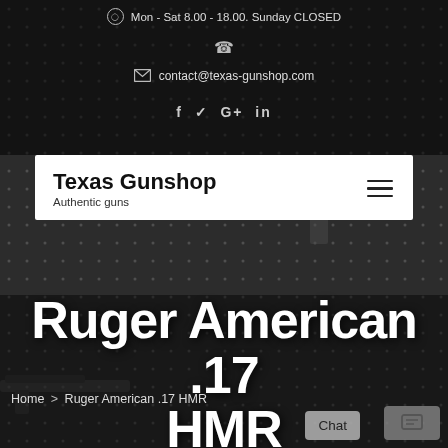Mon - Sat 8.00 - 18.00. Sunday CLOSED
contact@texas-gunshop.com
f ꭓ G+ in
Texas Gunshop
Authentic guns
Ruger American .17 HMR
Home > Ruger American .17 HMR
Chat